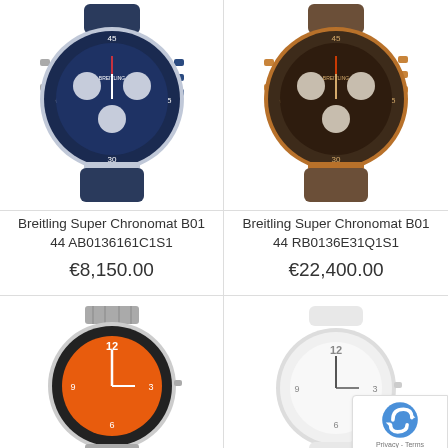[Figure (photo): Breitling Super Chronomat B01 44 watch with blue dial and blue rubber strap]
[Figure (photo): Breitling Super Chronomat B01 44 watch with brown/bronze dial and rose gold case with brown rubber strap]
Breitling Super Chronomat B01 44 AB0136161C1S1
Breitling Super Chronomat B01 44 RB0136E31Q1S1
€8,150.00
€22,400.00
[Figure (photo): Breitling watch with orange dial and steel bracelet]
[Figure (photo): Breitling watch with white dial and white rubber strap]